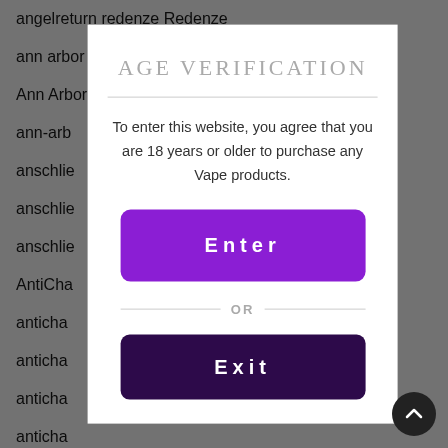angelreturn redenze Redenze
ann arbor dating
Ann Arbor+MI+Michigan dating
ann-arb
anschlie
anschlie
anschlie
AntiCha
anticha
anticha
anticha
anticha
AntiCha
Anticha
AGE VERIFICATION
To enter this website, you agree that you are 18 years or older to purchase any Vape products.
Enter
OR
Exit